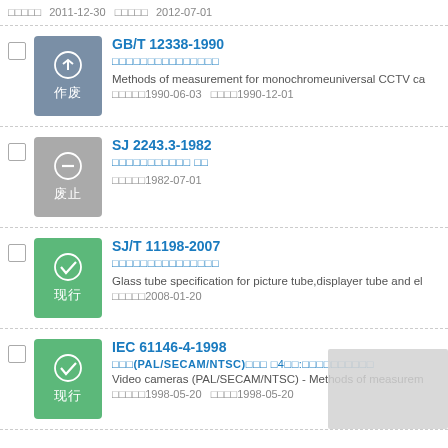Top partial entry: 发布日期2011-12-30 实施日期2012-07-01
GB/T 12338-1990 | 黑白通用摄像机测量方法 | Methods of measurement for monochromeuniversal CCTV ca | 发布日期1990-06-03 实施日期1990-12-01
SJ 2243.3-1982 | 摄像管测试方法 规范 | 发布日期1982-07-01
SJ/T 11198-2007 | 显示器玻管规格 | Glass tube specification for picture tube,displayer tube and el | 发布日期2008-01-20
IEC 61146-4-1998 | 摄像机(PAL/SECAM/NTSC)测量方法 第4部分:测量方法 | Video cameras (PAL/SECAM/NTSC) - Methods of measurem | 发布日期1998-05-20 实施日期1998-05-20